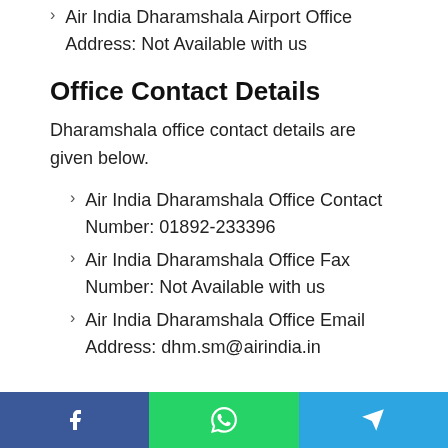Air India Dharamshala Airport Office Address: Not Available with us
Office Contact Details
Dharamshala office contact details are given below.
Air India Dharamshala Office Contact Number: 01892-233396
Air India Dharamshala Office Fax Number: Not Available with us
Air India Dharamshala Office Email Address: dhm.sm@airindia.in